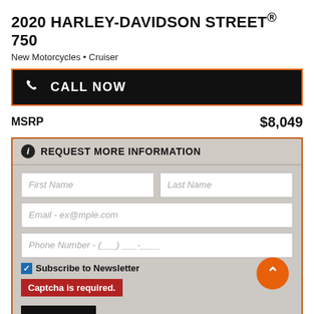2020 HARLEY-DAVIDSON STREET® 750
New Motorcycles • Cruiser
CALL NOW
MSRP   $8,049
REQUEST MORE INFORMATION
First Name
Last Name
Email - ex@mple.com
Phone Number - (   ) ___-____
Subscribe to Newsletter
Captcha is required.
SUBMIT